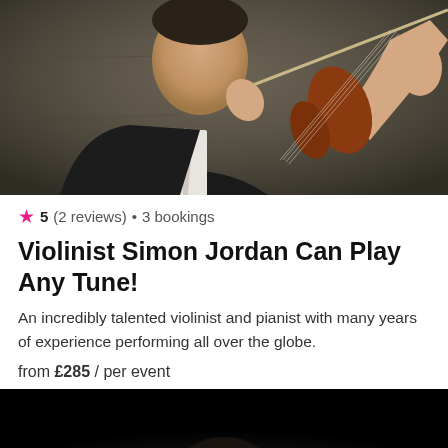[Figure (photo): A violinist in a dark suit and white tie playing violin, photographed against a stone/dark background]
★ 5 (2 reviews) • 3 bookings
Violinist Simon Jordan Can Play Any Tune!
An incredibly talented violinist and pianist with many years of experience performing all over the globe.
from £285 / per event
[Figure (photo): A performer with glasses and dark hair photographed against a black background]